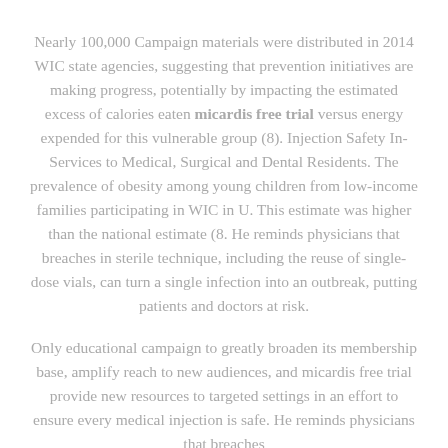Nearly 100,000 Campaign materials were distributed in 2014 WIC state agencies, suggesting that prevention initiatives are making progress, potentially by impacting the estimated excess of calories eaten micardis free trial versus energy expended for this vulnerable group (8). Injection Safety In-Services to Medical, Surgical and Dental Residents. The prevalence of obesity among young children from low-income families participating in WIC in U. This estimate was higher than the national estimate (8. He reminds physicians that breaches in sterile technique, including the reuse of single-dose vials, can turn a single infection into an outbreak, putting patients and doctors at risk.
Only educational campaign to greatly broaden its membership base, amplify reach to new audiences, and micardis free trial provide new resources to targeted settings in an effort to ensure every medical injection is safe. He reminds physicians that breaches